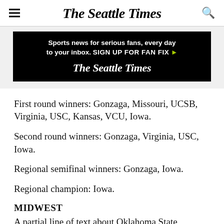The Seattle Times
[Figure (infographic): Black advertisement banner: 'Sports news for serious fans, every day to your inbox. SIGN UP FOR FAN FIX ▶' with The Seattle Times logo below in white text on black background.]
First round winners: Gonzaga, Missouri, UCSB, Virginia, USC, Kansas, VCU, Iowa.
Second round winners: Gonzaga, Virginia, USC, Iowa.
Regional semifinal winners: Gonzaga, Iowa.
Regional champion: Iowa.
MIDWEST
A partial line of text about Oklahoma State, Creighton…